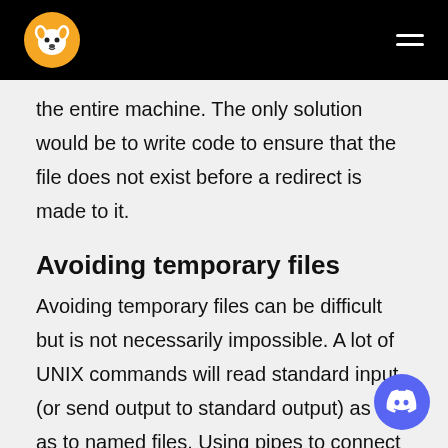[Logo and navigation bar]
the entire machine. The only solution would be to write code to ensure that the file does not exist before a redirect is made to it.
Avoiding temporary files
Avoiding temporary files can be difficult but is not necessarily impossible. A lot of UNIX commands will read standard input (or send output to standard output) as well as to named files. Using pipes to connect such commands together will